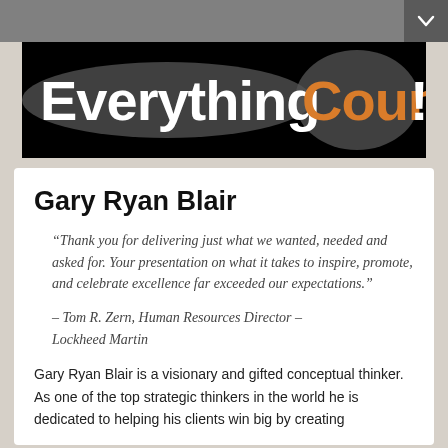[Figure (logo): EverythingCounts! logo with white 'Everything' and orange 'Counts!' text on black background with grey blob shapes]
Gary Ryan Blair
“Thank you for delivering just what we wanted, needed and asked for. Your presentation on what it takes to inspire, promote, and celebrate excellence far exceeded our expectations.”
– Tom R. Zern, Human Resources Director – Lockheed Martin
Gary Ryan Blair is a visionary and gifted conceptual thinker. As one of the top strategic thinkers in the world he is dedicated to helping his clients win big by creating